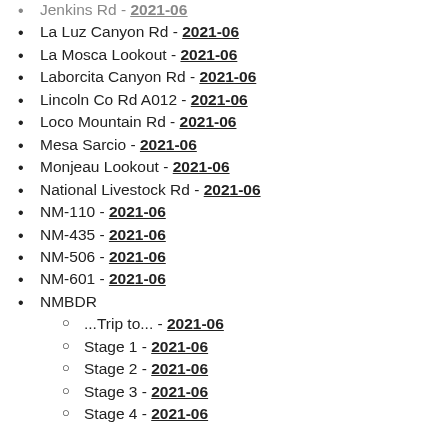Jenkins Rd - 2021-06
La Luz Canyon Rd - 2021-06
La Mosca Lookout - 2021-06
Laborcita Canyon Rd - 2021-06
Lincoln Co Rd A012 - 2021-06
Loco Mountain Rd - 2021-06
Mesa Sarcio - 2021-06
Monjeau Lookout - 2021-06
National Livestock Rd - 2021-06
NM-110 - 2021-06
NM-435 - 2021-06
NM-506 - 2021-06
NM-601 - 2021-06
NMBDR
...Trip to... - 2021-06
Stage 1 - 2021-06
Stage 2 - 2021-06
Stage 3 - 2021-06
Stage 4 - 2021-06